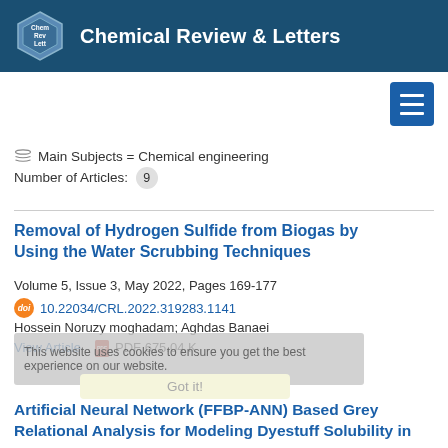Chemical Review & Letters
Main Subjects = Chemical engineering
Number of Articles: 9
Removal of Hydrogen Sulfide from Biogas by Using the Water Scrubbing Techniques
Volume 5, Issue 3, May 2022, Pages 169-177
10.22034/CRL.2022.319283.1141
Hossein Noruzy moghadam; Aghdas Banaei
View Article    PDF 675.04 K
This website uses cookies to ensure you get the best experience on our website.
Got it!
Artificial Neural Network (FFBP-ANN) Based Grey Relational Analysis for Modeling Dyestuff Solubility in Supercritical CO2 with Ethanol as the Co-Solvent